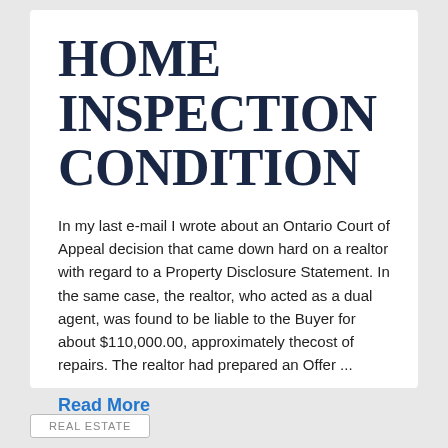HOME INSPECTION CONDITION
In my last e-mail I wrote about an Ontario Court of Appeal decision that came down hard on a realtor with regard to a Property Disclosure Statement. In the same case, the realtor, who acted as a dual agent, was found to be liable to the Buyer for about $110,000.00, approximately thecost of repairs. The realtor had prepared an Offer ...
Read More
REAL ESTATE